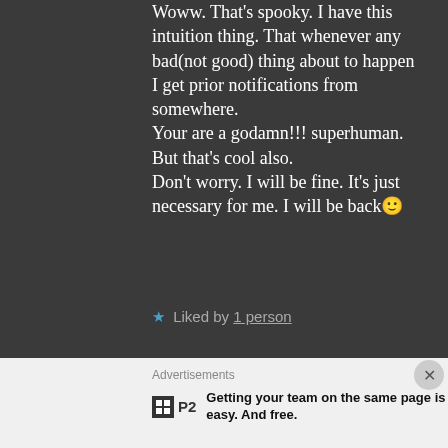Woww. That's spooky. I have this intuition thing. That whenever any bad(not good) thing about to happen I get prior notifications from somewhere.
Your are a godamn!!! superhuman. But that's cool also.
Don't worry. I will be fine. It's just necessary for me. I will be back🙂
★ Liked by 1 person
Advertisements
Getting your team on the same page is easy. And free.